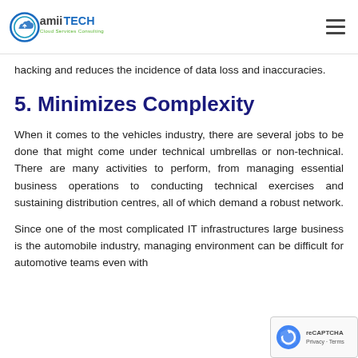amiiTECH Cloud Services Consulting
hacking and reduces the incidence of data loss and inaccuracies.
5. Minimizes Complexity
When it comes to the vehicles industry, there are several jobs to be done that might come under technical umbrellas or non-technical. There are many activities to perform, from managing essential business operations to conducting technical exercises and sustaining distribution centres, all of which demand a robust network.
Since one of the most complicated IT infrastructures large business is the automobile industry, managing environment can be difficult for automotive teams even with